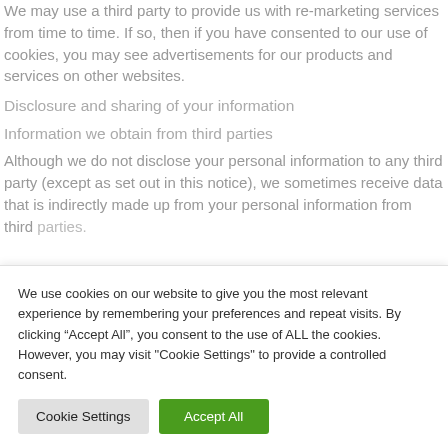We may use a third party to provide us with re-marketing services from time to time. If so, then if you have consented to our use of cookies, you may see advertisements for our products and services on other websites.
Disclosure and sharing of your information
Information we obtain from third parties
Although we do not disclose your personal information to any third party (except as set out in this notice), we sometimes receive data that is indirectly made up from your personal information from third parties.
We use cookies on our website to give you the most relevant experience by remembering your preferences and repeat visits. By clicking “Accept All”, you consent to the use of ALL the cookies. However, you may visit "Cookie Settings" to provide a controlled consent.